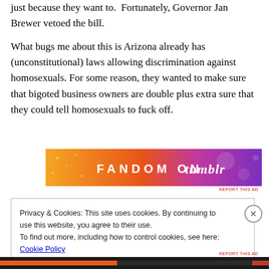just because they want to.  Fortunately, Governor Jan Brewer vetoed the bill.
What bugs me about this is Arizona already has (unconstitutional) laws allowing discrimination against homosexuals. For some reason, they wanted to make sure that bigoted business owners are double plus extra sure that they could tell homosexuals to fuck off.
[Figure (other): FANDOM ON tumblr advertisement banner with orange and purple gradient background]
REPORT THIS AD
Privacy & Cookies: This site uses cookies. By continuing to use this website, you agree to their use.
To find out more, including how to control cookies, see here: Cookie Policy
Close and accept